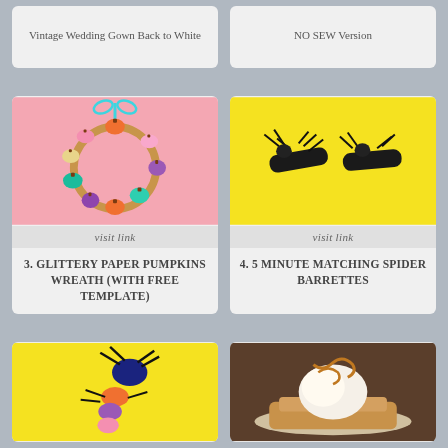Vintage Wedding Gown Back to White
NO SEW Version
[Figure (photo): Colorful pumpkin wreath with teal ribbon on pink background]
visit link
3. GLITTERY PAPER PUMPKINS WREATH (WITH FREE TEMPLATE)
[Figure (photo): Plastic spider barrettes on yellow background]
visit link
4. 5 MINUTE MATCHING SPIDER BARRETTES
[Figure (photo): Colorful spider craft on yellow background]
[Figure (photo): Dessert with ice cream and caramel sauce]